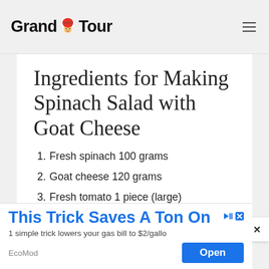Grand Tour
Ingredients for Making Spinach Salad with Goat Cheese
1. Fresh spinach 100 grams
2. Goat cheese 120 grams
3. Fresh tomato 1 piece (large)
4. Dried tomatoes 3 pieces
This Trick Saves A Ton On G
1 simple trick lowers your gas bill to $2/gallo
EcoMod